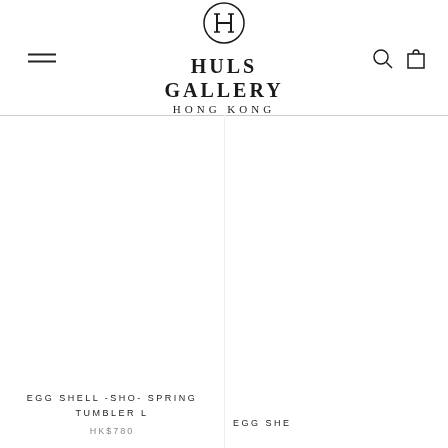[Figure (logo): Huls Gallery Hong Kong logo with circle H monogram and bold text]
EGG SHELL -SHO- SPRING TUMBLER L
HK$780
EGG SHE